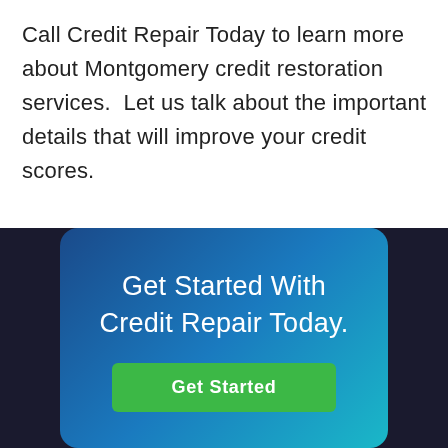Call Credit Repair Today to learn more about Montgomery credit restoration services.  Let us talk about the important details that will improve your credit scores.
[Figure (other): A card with gradient blue background (dark blue to teal) containing the headline 'Get Started With Credit Repair Today.' and a green 'Get Started' button, displayed on a dark background strip.]